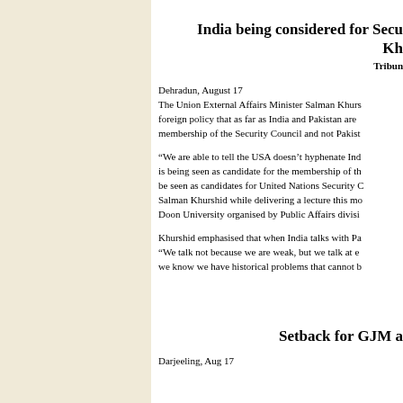India being considered for Security Council membership: Kh...
Tribune
Dehradun, August 17
The Union External Affairs Minister Salman Khurshid said on foreign policy that as far as India and Pakistan are concerned, India is being considered for membership of the Security Council and not Pakistan.
“We are able to tell the USA doesn’t hyphenate India and Pakistan, India is being seen as candidate for the membership of the Security Council and not be seen as candidates for United Nations Security Council,” said Salman Khurshid while delivering a lecture this morning at Doon University organised by Public Affairs division.
Khurshid emphasised that when India talks with Pakistan, “We talk not because we are weak, but we talk at equal level and we know we have historical problems that cannot b...
Setback for GJM a...
Darjeeling, Aug 17